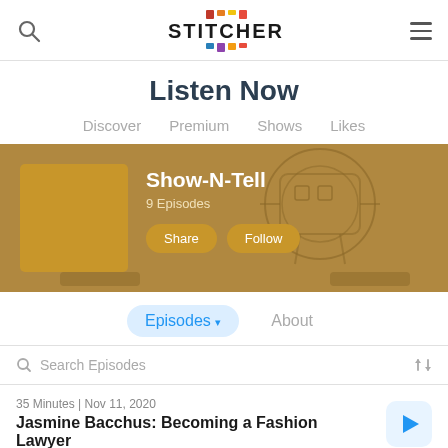Stitcher
Listen Now
Discover  Premium  Shows  Likes
[Figure (screenshot): Show-N-Tell podcast banner with golden/brown background artwork showing illustrated robot/character design. Includes thumbnail image, show title 'Show-N-Tell', '9 Episodes', 'Share' and 'Follow' buttons.]
Episodes ▾  About
Search Episodes
35 Minutes | Nov 11, 2020
Jasmine Bacchus: Becoming a Fashion Lawyer
16 Minutes | Oct 12, 2020
Henry Dawson: Making Bread as his Senior Thesis?